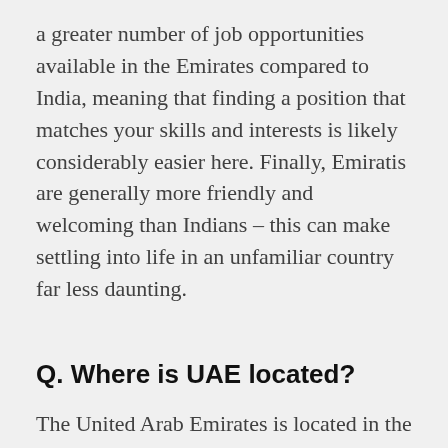a greater number of job opportunities available in the Emirates compared to India, meaning that finding a position that matches your skills and interests is likely considerably easier here. Finally, Emiratis are generally more friendly and welcoming than Indians – this can make settling into life in an unfamiliar country far less daunting.
Q. Where is UAE located?
The United Arab Emirates is located in the middle of the Arabian Peninsula. It occupies an area of about 2,700 square kilometers and has a population of over 5 million people. The UAE's capital city is Abu Dhabi,